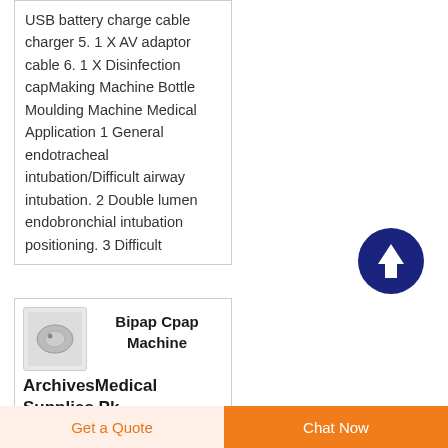USB battery charge cable charger 5. 1 X AV adaptor cable 6. 1 X Disinfection capMaking Machine Bottle Moulding Machine Medical Application 1 General endotracheal intubation/Difficult airway intubation. 2 Double lumen endobronchial intubation positioning. 3 Difficult
[Figure (photo): Scroll-to-top button: dark navy blue circle with white upward arrow icon]
[Figure (photo): Thumbnail image of a Bipap Cpap machine, small grey/white device]
Bipap Cpap Machine ArchivesMedical Supplies Pk
Get a Quote   Chat Now